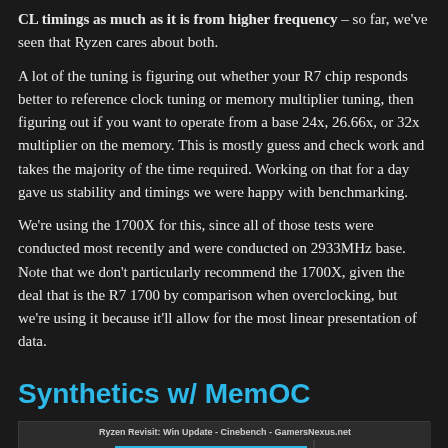CL timings as much as it is from higher frequency – so far, we've seen that Ryzen cares about both.
A lot of the tuning is figuring out whether your R7 chip responds better to reference clock tuning or memory multiplier tuning, then figuring out if you want to operate from a base 24x, 26.66x, or 32x multiplier on the memory. This is mostly guess and check work and takes the majority of the time required. Working on that for a day gave us stability and timings we were happy with benchmarking.
We're using the 1700X for this, since all of those tests were conducted most recently and were conducted on 2933MHz base. Note that we don't particularly recommend the 1700X, given the deal that is the R7 1700 by comparison when overclocking, but we're using it because it'll allow for the most linear presentation of data.
Synthetics w/ MemOC
[Figure (bar-chart): Ryzen Revisit: Win Update - Cinebench - GamersNexus.net]